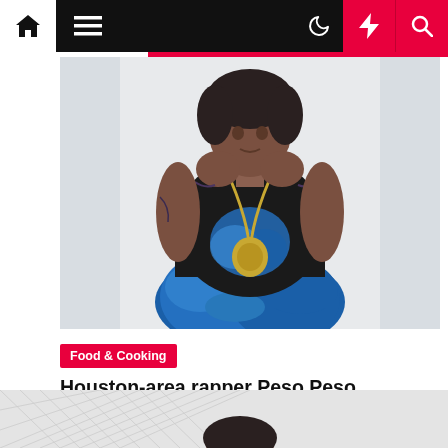Navigation bar with home, menu, moon, lightning, and search icons
[Figure (photo): Photo of Houston-area rapper Peso Peso making a heart shape with hands, wearing gold chains and a black graphic t-shirt with blue camo pants, against a white background]
Food & Cooking
Houston-area rapper Peso Peso headlining Waco show | Music
magenet  5 months ago
[Figure (photo): Partial view of second article preview at bottom, showing geometric grid pattern and top of a person's head]